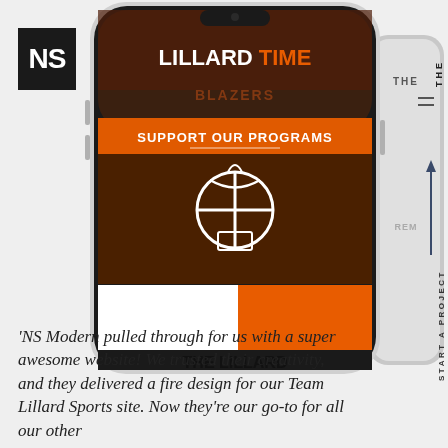[Figure (screenshot): Logo with letters NS in white on black background]
[Figure (screenshot): Mobile phone mockup showing the Lillard Time website with 'SUPPORT OUR PROGRAMS' section, basketball icon, Donate and Book Now buttons, and 'THE LILLARD' text at bottom. Orange and dark theme.]
[Figure (screenshot): Partial second phone mockup on the right side showing THE and REM text with navigation arrows, partially cropped]
'NS Modern pulled through for us with a super awesome website! We trusted their creativity, and they delivered a fire design for our Team Lillard Sports site. Now they're our go-to for all our other